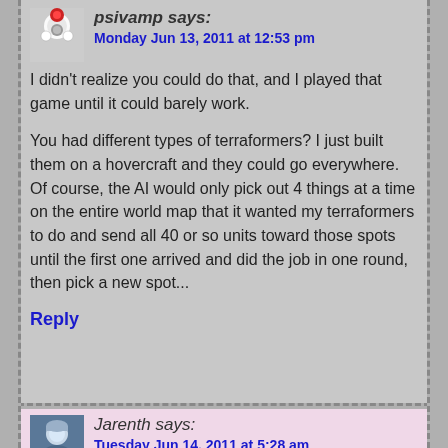[Figure (photo): Avatar of psivamp: molecule-style graphic with red and white spheres]
psivamp says:
Monday Jun 13, 2011 at 12:53 pm
I didn't realize you could do that, and I played that game until it could barely work.
You had different types of terraformers? I just built them on a hovercraft and they could go everywhere. Of course, the AI would only pick out 4 things at a time on the entire world map that it wanted my terraformers to do and send all 40 or so units toward those spots until the first one arrived and did the job in one round, then pick a new spot...
Reply
[Figure (photo): Avatar of Jarenth: blue-toned character portrait]
Jarenth says:
Tuesday Jun 14, 2011 at 5:28 am
Lowering un-Domed NPC bases into the ocean still